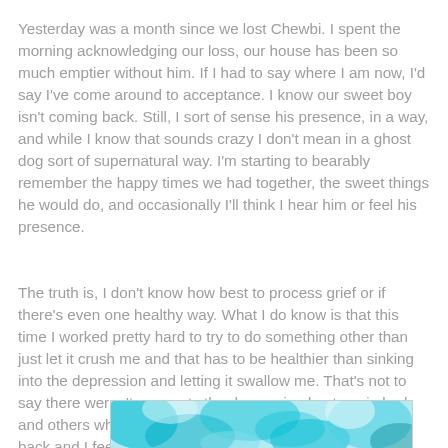Yesterday was a month since we lost Chewbi. I spent the morning acknowledging our loss, our house has been so much emptier without him. If I had to say where I am now, I'd say I've come around to acceptance. I know our sweet boy isn't coming back. Still, I sort of sense his presence, in a way, and while I know that sounds crazy I don't mean in a ghost dog sort of supernatural way. I'm starting to bearably remember the happy times we had together, the sweet things he would do, and occasionally I'll think I hear him or feel his presence.
The truth is, I don't know how best to process grief or if there's even one healthy way. What I do know is that this time I worked pretty hard to try to do something other than just let it crush me and that has to be healthier than sinking into the depression and letting it swallow me. That's not to say there weren't moments the depression kept me in bed and others when I couldn't swallow the tears. But, I pushed back and I feel okay about that. ♥
[Figure (photo): Partial view of a teal/turquoise colored image, possibly a pet photo with artistic teal tones, cropped at the bottom of the page.]